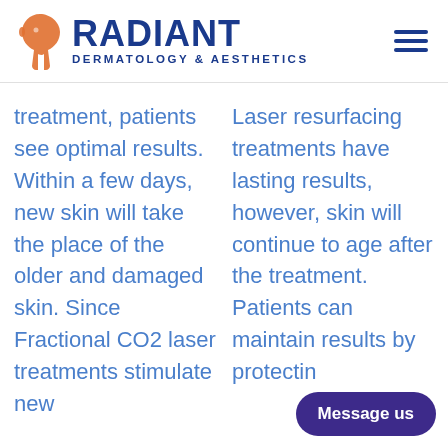[Figure (logo): Radiant Dermatology & Aesthetics logo with orange face silhouette and blue text]
treatment, patients see optimal results. Within a few days, new skin will take the place of the older and damaged skin. Since Fractional CO2 laser treatments stimulate new
Laser resurfacing treatments have lasting results, however, skin will continue to age after the treatment. Patients can maintain results by protecting
Message us